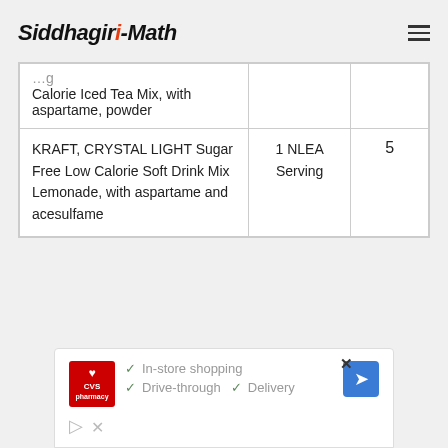Siddhagiri-Math
|  |  |  |
| --- | --- | --- |
| …g Calorie Iced Tea Mix, with aspartame, powder |  |  |
| KRAFT, CRYSTAL LIGHT Sugar Free Low Calorie Soft Drink Mix Lemonade, with aspartame and acesulfame | 1 NLEA Serving | 5 |
[Figure (screenshot): CVS Pharmacy advertisement overlay showing In-store shopping, Drive-through, and Delivery options with close button]